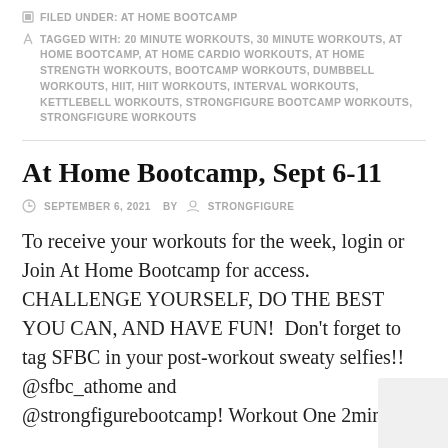FILED UNDER: AT HOME BOOTCAMP
TAGGED WITH: 20 MINUTE WORKOUTS, 30 MINUTE WORKOUTS, AT HOME BOOTCAMP, AT HOME CARDIO WORKOUTS, AT HOME STRENGTH WORKOUTS, BOOTCAMP WORKOUTS, DUMBBELL WORKOUTS, HIIT, HIIT WORKOUTS, INTERVAL WORKOUTS, KETTLEBELL WORKOUTS, STRONGFIGURE BOOTCAMP WORKOUTS, STRONGFIGURE WORKOUTS
At Home Bootcamp, Sept 6-11
SEPTEMBER 6, 2021   BY   STRONGFIGURE
To receive your workouts for the week, login or Join At Home Bootcamp for access. CHALLENGE YOURSELF, DO THE BEST YOU CAN, AND HAVE FUN!  Don't forget to tag SFBC in your post-workout sweaty selfies!! @sfbc_athome and @strongfigurebootcamp! Workout One 2min